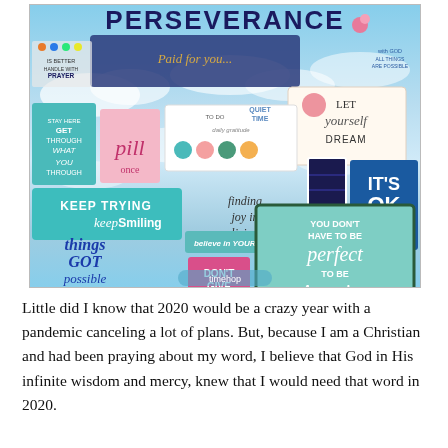[Figure (photo): A motivational/inspirational vision board collage with the word PERSEVERANCE at the top, featuring multiple sticker-style cards with phrases like 'Let Yourself Dream', 'Keep Trying Keep Smiling', 'It’s OK', 'You Don’t Have to Be Perfect to Be Amazing', 'Don’t Give Up', 'Believe in Yourself', 'Quiet Time', and various calligraphy and decorative elements, on a blue sky background. Timehop watermark at bottom.]
Little did I know that 2020 would be a crazy year with a pandemic canceling a lot of plans. But, because I am a Christian and had been praying about my word, I believe that God in His infinite wisdom and mercy, knew that I would need that word in 2020.